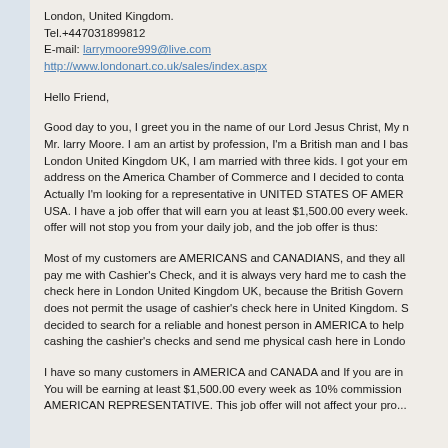London, United Kingdom.
Tel.+447031899812
E-mail: larrymoore999@live.com
http://www.londonart.co.uk/sales/index.aspx
Hello Friend,
Good day to you, I greet you in the name of our Lord Jesus Christ, My name is Mr. larry Moore. I am an artist by profession, I'm a British man and I base in London United Kingdom UK, I am married with three kids. I got your email address on the America Chamber of Commerce and I decided to contact you. Actually I'm looking for a representative in UNITED STATES OF AMERICA USA. I have a job offer that will earn you at least $1,500.00 every week. This offer will not stop you from your daily job, and the job offer is thus:
Most of my customers are AMERICANS and CANADIANS, and they all pay me with Cashier's Check, and it is always very hard me to cash the check here in London United Kingdom UK, because the British Government does not permit the usage of cashier's check here in United Kingdom. So I decided to search for a reliable and honest person in AMERICA to help me cashing the cashier's checks and send me physical cash here in London.
I have so many customers in AMERICA and CANADA and If you are interested, You will be earning at least $1,500.00 every week as 10% commission as my AMERICAN REPRESENTATIVE. This job offer will not affect your pro...